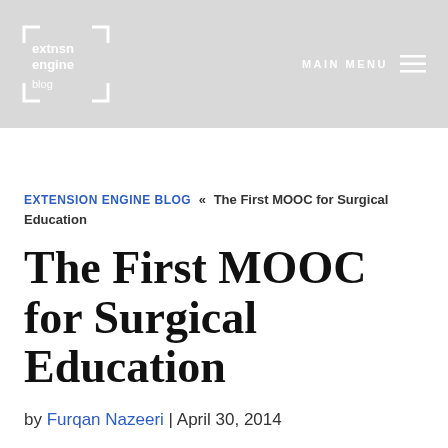[Figure (logo): extnsn engine blog logo with bracket border on gray header background]
MAIN MENU
EXTENSION ENGINE BLOG « The First MOOC for Surgical Education
The First MOOC for Surgical Education
by Furqan Nazeeri | April 30, 2014